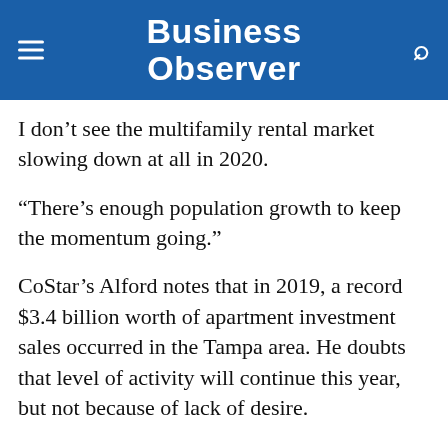Business Observer
I don’t see the multifamily rental market slowing down at all in 2020.
“There’s enough population growth to keep the momentum going.”
CoStar’s Alford notes that in 2019, a record $3.4 billion worth of apartment investment sales occurred in the Tampa area. He doubts that level of activity will continue this year, but not because of lack of desire.
“The fundamentals remain in place,” he says. “I don’t see any change there in 2020, though we may